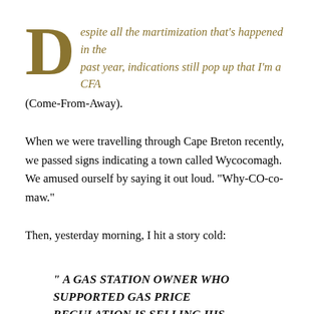Despite all the martimization that's happened in the past year, indications still pop up that I'm a CFA (Come-From-Away).
When we were travelling through Cape Breton recently, we passed signs indicating a town called Wycocomagh. We amused ourself by saying it out loud. "Why-CO-co-maw."
Then, yesterday morning, I hit a story cold:
" A GAS STATION OWNER WHO SUPPORTED GAS PRICE REGULATION IS SELLING HIS BUSINESS. DENNY EHLER HAS RUN DENNY'S ULTRAMAR IN WHYCOCOMAGH SINCE 1980...BUT HE TELLS THE CHRONICLE HERALD HE